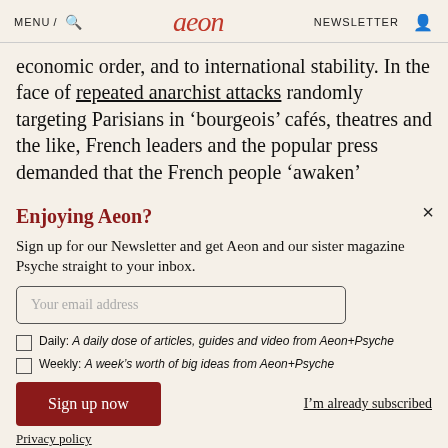MENU / [search icon] aeon NEWSLETTER [person icon]
economic order, and to international stability. In the face of repeated anarchist attacks randomly targeting Parisians in ‘bourgeois’ cafés, theatres and the like, French leaders and the popular press demanded that the French people ‘awaken’
Enjoying Aeon?
Sign up for our Newsletter and get Aeon and our sister magazine Psyche straight to your inbox.
Your email address
Daily: A daily dose of articles, guides and video from Aeon+Psyche
Weekly: A week’s worth of big ideas from Aeon+Psyche
Sign up now
I’m already subscribed
Privacy policy